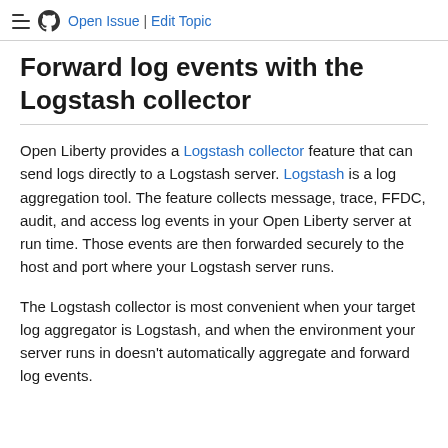Open Issue | Edit Topic
Forward log events with the Logstash collector
Open Liberty provides a Logstash collector feature that can send logs directly to a Logstash server. Logstash is a log aggregation tool. The feature collects message, trace, FFDC, audit, and access log events in your Open Liberty server at run time. Those events are then forwarded securely to the host and port where your Logstash server runs.
The Logstash collector is most convenient when your target log aggregator is Logstash, and when the environment your server runs in doesn’t automatically aggregate and forward log events.